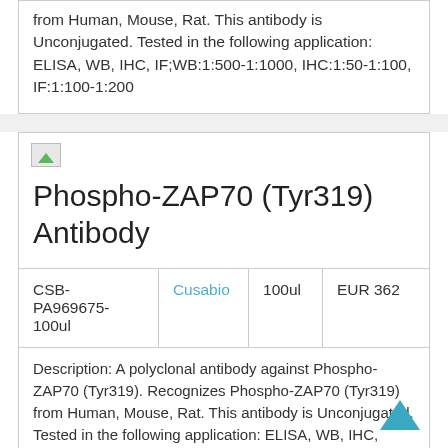from Human, Mouse, Rat. This antibody is Unconjugated. Tested in the following application: ELISA, WB, IHC, IF;WB:1:500-1:1000, IHC:1:50-1:100, IF:1:100-1:200
[Figure (photo): Small broken image placeholder icon]
Phospho-ZAP70 (Tyr319) Antibody
|  |  |  |  |
| --- | --- | --- | --- |
| CSB-PA969675-100ul | Cusabio | 100ul | EUR 362 |
Description: A polyclonal antibody against Phospho-ZAP70 (Tyr319). Recognizes Phospho-ZAP70 (Tyr319) from Human, Mouse, Rat. This antibody is Unconjugated. Tested in the following application: ELISA, WB, IHC, IF;WB:1:500-1:1000, IHC:1:50-1:100,